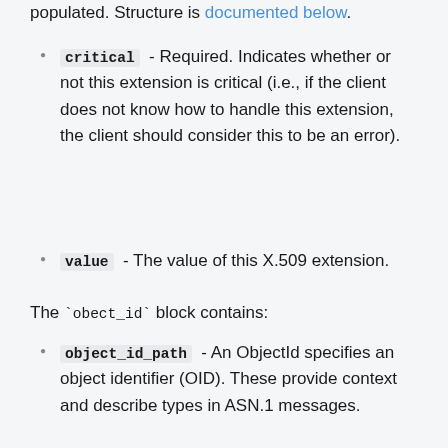populated. Structure is documented below.
critical  - Required. Indicates whether or not this extension is critical (i.e., if the client does not know how to handle this extension, the client should consider this to be an error).
value  - The value of this X.509 extension.
The `obect_id` block contains:
object_id_path  - An ObjectId specifies an object identifier (OID). These provide context and describe types in ASN.1 messages.